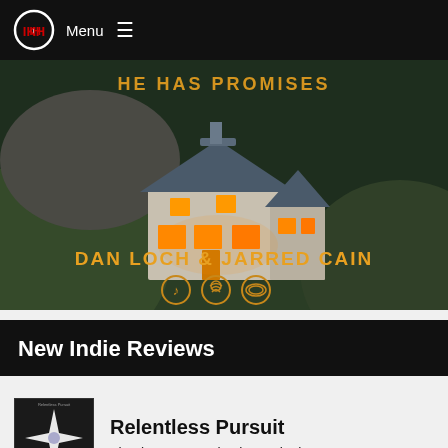Menu
[Figure (photo): Music banner image showing a white house on a green hillside at dusk with lit orange windows. Text overlay reads 'DAN LOCH & JARRED CAIN' with streaming icons below. Partial text at top reads 'HE HAS PROMISES'.]
New Indie Reviews
[Figure (photo): Album thumbnail for 'Relentless Pursuit' - black album art with a white cross/asterisk shape in the center]
Relentless Pursuit
Flamboyant Intoxication - Single